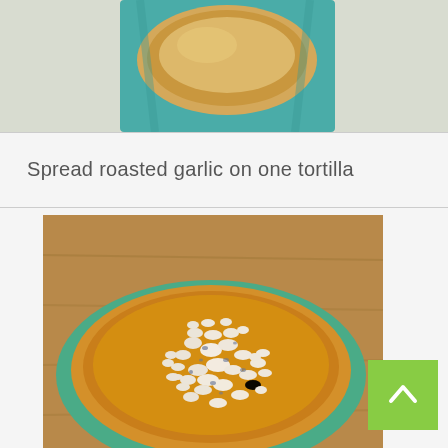[Figure (photo): Top portion of a food photo showing what appears to be a tortilla or flatbread on a teal/green plate, partially visible at the top of the page]
Spread roasted garlic on one tortilla
[Figure (photo): Close-up photo of a tortilla topped with crumbled blue cheese on a warm golden-brown base, displayed on a green plate on a wooden surface]